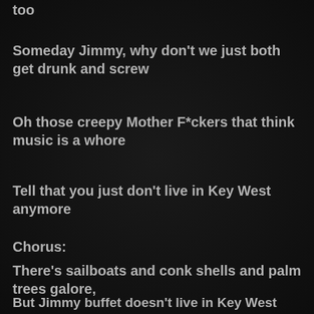too
Someday Jimmy, why don't we just both get drunk and screw
Oh those creepy Mother F*ckers that think music is a whore
Tell that you just don't live in Key West anymore
Chorus:
There's sailboats and conk shells and palm trees galore,
But Jimmy buffet doesn't live in Key West anymore